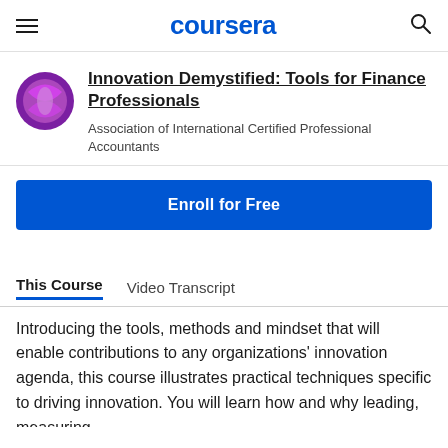coursera
Innovation Demystified: Tools for Finance Professionals
Association of International Certified Professional Accountants
Enroll for Free
This Course   Video Transcript
Introducing the tools, methods and mindset that will enable contributions to any organizations' innovation agenda, this course illustrates practical techniques specific to driving innovation. You will learn how and why leading, measuring